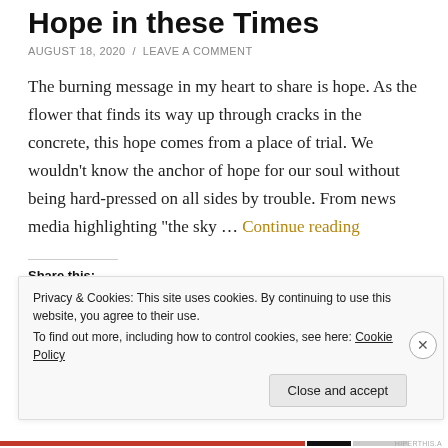Hope in these Times
AUGUST 18, 2020 / LEAVE A COMMENT
The burning message in my heart to share is hope. As the flower that finds its way up through cracks in the concrete, this hope comes from a place of trial. We wouldn't know the anchor of hope for our soul without being hard-pressed on all sides by trouble. From news media highlighting “the sky … Continue reading
Share this:
Privacy & Cookies: This site uses cookies. By continuing to use this website, you agree to their use.
To find out more, including how to control cookies, see here: Cookie Policy
Close and accept